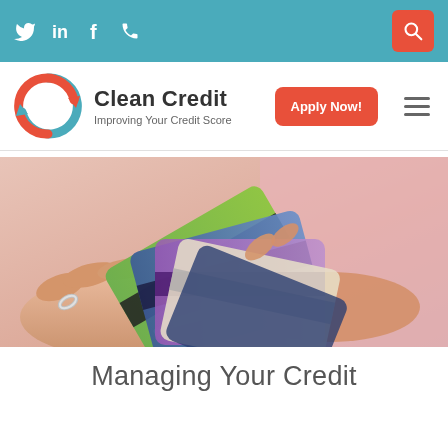Twitter LinkedIn Facebook Phone Search
[Figure (logo): Clean Credit logo — circular arrow icon in teal and red/orange, with brand name 'Clean Credit' and tagline 'Improving Your Credit Score']
[Figure (photo): Person's hands holding and fanning out multiple credit cards, wearing a ring, against a pink background]
Managing Your Credit